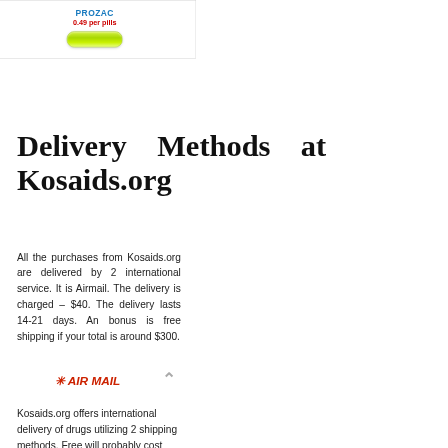[Figure (other): Advertisement box for Prozac showing product name in blue, price '0.49 per pills' in red, and a green pill-shaped button, with 'rn4kids.org' watermark behind]
Delivery Methods at Kosaids.org
All the purchases from Kosaids.org are delivered by 2 international service. It is Airmail. The delivery is charged – $40. The delivery lasts 14-21 days. An bonus is free shipping if your total is around $300.
[Figure (other): Air Mail logo/stamp graphic in red cursive text with asterisk decoration]
Kosaids.org offers international delivery of drugs utilizing 2 shipping methods. Free will probably cost $45. Medicine